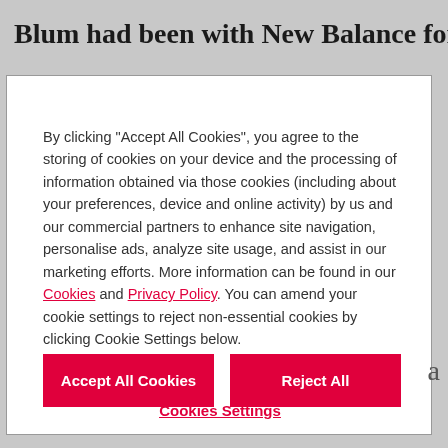Blum had been with New Balance for three
By clicking “Accept All Cookies”, you agree to the storing of cookies on your device and the processing of information obtained via those cookies (including about your preferences, device and online activity) by us and our commercial partners to enhance site navigation, personalise ads, analyze site usage, and assist in our marketing efforts. More information can be found in our Cookies and Privacy Policy. You can amend your cookie settings to reject non-essential cookies by clicking Cookie Settings below.
Accept All Cookies
Reject All
Cookies Settings